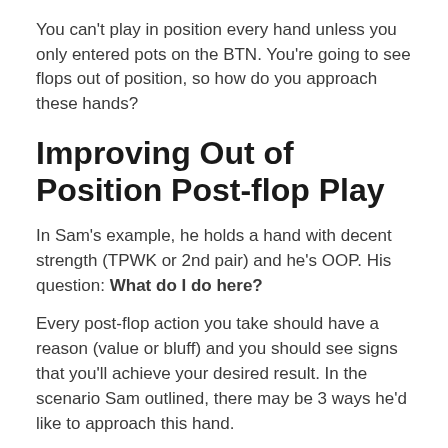You can't play in position every hand unless you only entered pots on the BTN.  You're going to see flops out of position, so how do you approach these hands?
Improving Out of Position Post-flop Play
In Sam's example, he holds a hand with decent strength (TPWK or 2nd pair) and he's OOP.  His question: What do I do here?
Every post-flop action you take should have a reason (value or bluff) and you should see signs that you'll achieve your desired result. In the scenario Sam outlined, there may be 3 ways he'd like to approach this hand.
1. Sam wants to take the pot down on the flop before the